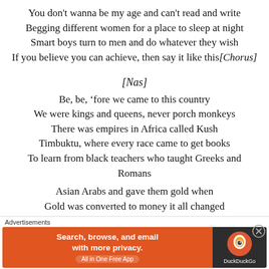You don't wanna be my age and can't read and write
Begging different women for a place to sleep at night
Smart boys turn to men and do whatever they wish
If you believe you can achieve, then say it like this[Chorus]
[Nas]
Be, be, 'fore we came to this country
We were kings and queens, never porch monkeys
There was empires in Africa called Kush
Timbuktu, where every race came to get books
To learn from black teachers who taught Greeks and Romans
Asian Arabs and gave them gold when
Gold was converted to money it all changed
[Figure (infographic): DuckDuckGo advertisement banner: orange left section with text 'Search, browse, and email with more privacy. All in One Free App', dark right section with DuckDuckGo logo and brand name.]